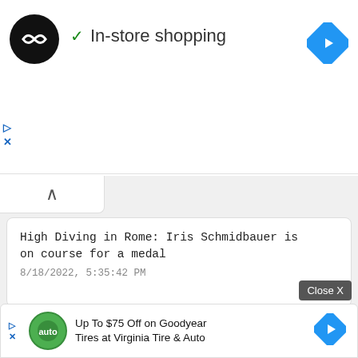[Figure (screenshot): In-store shopping advertisement banner with circular black logo, checkmark and text 'In-store shopping', blue diamond arrow icon on right. Play and X icons on left margin.]
High Diving in Rome: Iris Schmidbauer is on course for a medal
8/18/2022, 5:35:42 PM
German Swimming Association releases national water jump coach Lutz Buschkow
8/18/2022, 5:24:06 PM
Moves to the center: Omri Ben Harosh signed in Ness Ziona | Israel tod
8/18/2
[Figure (screenshot): Bottom advertisement: green auto logo, text 'Up To $75 Off on Goodyear Tires at Virginia Tire & Auto', blue diamond arrow. Close X button overlay visible.]